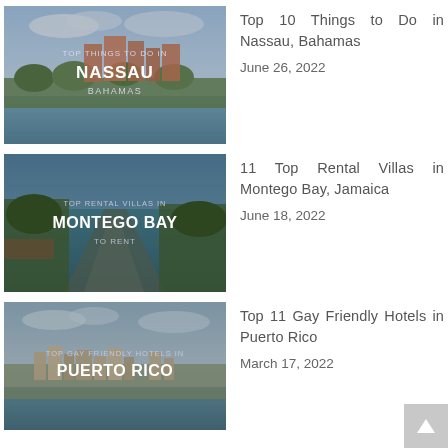[Figure (photo): Top Things To Do In Nassau Bahamas — travel thumbnail with resort buildings and waterfront]
Top 10 Things to Do in Nassau, Bahamas
June 26, 2022
[Figure (photo): Top Rental Villas In Montego Bay To Rent — travel thumbnail with coastal road and tropical scenery]
11 Top Rental Villas in Montego Bay, Jamaica
June 18, 2022
[Figure (photo): Top Gay Friendly Hotels In Puerto Rico — travel thumbnail with coastal town]
Top 11 Gay Friendly Hotels in Puerto Rico
March 17, 2022